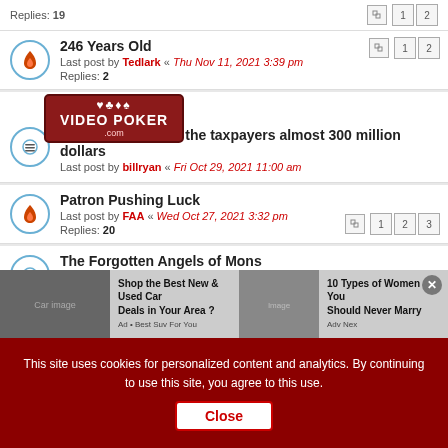Replies: 19
246 Years Old — Last post by Tedlark « Thu Nov 11, 2021 3:39 pm
[Figure (logo): VIDEO POKER .com logo with card suits overlay]
stem Joe has cost the taxpayers almost 300 million dollars — Last post by billryan « Fri Oct 29, 2021 11:00 am
Patron Pushing Luck — Last post by FAA « Wed Oct 27, 2021 3:32 pm — Replies: 20
The Forgotten Angels of Mons — Last post by olds442jetaway « Tue Oct 19, 2021 5:13 pm — Replies: 3
do Advantage players have losing years? — Last post by advantage playe « Wed Oct 13, 2021 8:05 pm — Replies: 26
[Figure (infographic): Advertisement banner: Shop the Best New & Used Car Deals in Your Area? / 10 Types of Women You Should Never Marry]
This site uses cookies for personalized content and analytics. By continuing to use this site, you agree to this use. Close